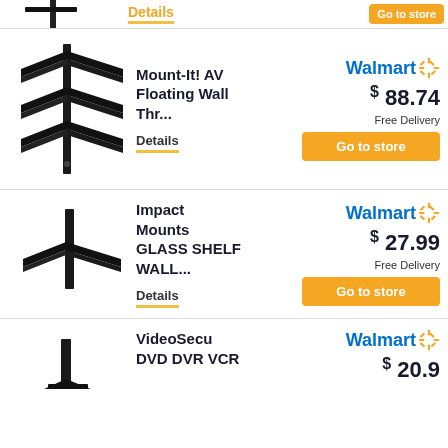[Figure (photo): Partial view of a black wall-mount shelf product image at top of page]
[Figure (photo): Mount-It! AV Floating Wall shelf with three black glass tiers mounted on a vertical bracket]
Mount-It! AV Floating Wall Thr...
Details
Walmart $88.74 Free Delivery
Go to store
[Figure (photo): Impact Mounts single black glass shelf with vertical bracket]
Impact Mounts GLASS SHELF WALL...
Details
Walmart $27.99 Free Delivery
Go to store
[Figure (photo): VideoSecu DVD DVR VCR shelf product, partial view at bottom]
VideoSecu DVD DVR VCR
Walmart $20.9...